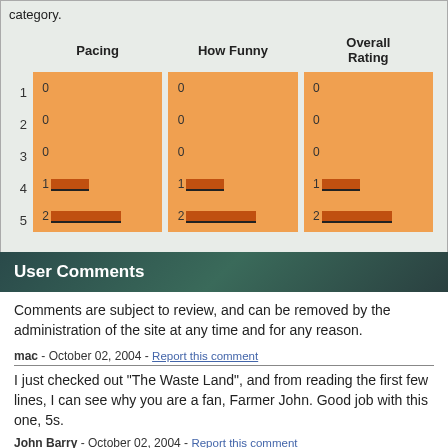category.
[Figure (bar-chart): Rating Distribution]
User Comments
Comments are subject to review, and can be removed by the administration of the site at any time and for any reason.
mac - October 02, 2004 - Report this comment
I just checked out "The Waste Land", and from reading the first few lines, I can see why you are a fan, Farmer John. Good job with this one, 5s.
John Barry - October 02, 2004 - Report this comment